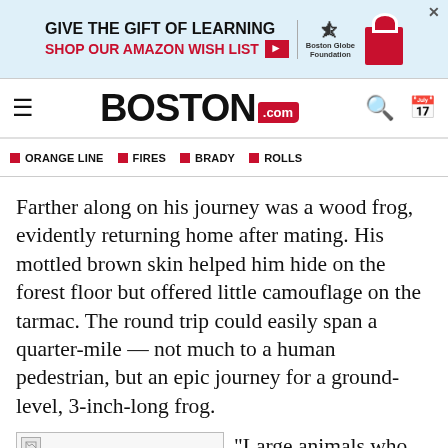[Figure (screenshot): Advertisement banner: GIVE THE GIFT OF LEARNING / SHOP OUR AMAZON WISH LIST with red arrow, Boston Globe Foundation logo, and X close button]
BOSTON.com — navigation bar with hamburger menu, Boston.com logo, search and calendar icons
ORANGE LINE
FIRES
BRADY
ROLLS
Farther along on his journey was a wood frog, evidently returning home after mating. His mottled brown skin helped him hide on the forest floor but offered little camouflage on the tarmac. The round trip could easily span a quarter-mile — not much to a human pedestrian, but an epic journey for a ground-level, 3-inch-long frog.
[Figure (photo): Broken/unloaded image placeholder]
“Large animals who